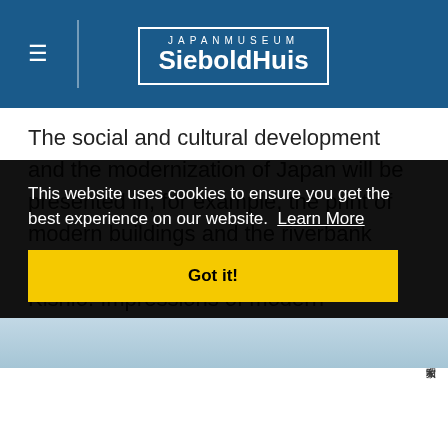JAPANMUSEUM SieboldHuis
The social and cultural development and the modernization of Japan will be presented in, for example, the print of modern buildings and the riverbank near the Sukiya bridge by Koizumi Kishio. Impressions of modern architecture and
This website uses cookies to ensure you get the best experience on our website. Learn More
[Figure (screenshot): Cookie consent banner with black background, 'Got it!' yellow button, and partial image strip at bottom]